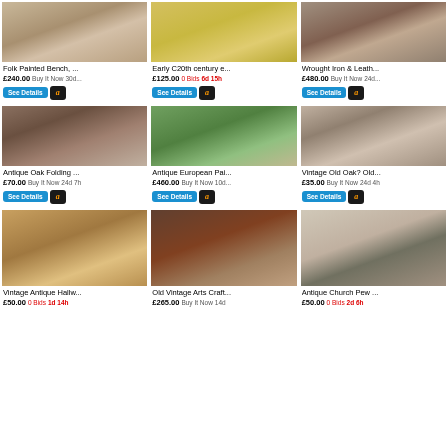[Figure (photo): Folk Painted Bench product listing image]
Folk Painted Bench, ...
£240.00 Buy It Now 30d...
[Figure (photo): Early C20th century e... product listing image]
Early C20th century e...
£125.00 0 Bids 6d 15h
[Figure (photo): Wrought Iron & Leath... product listing image]
Wrought Iron & Leath...
£480.00 Buy It Now 24d...
[Figure (photo): Antique Oak Folding table listing image]
Antique Oak Folding ...
£70.00 Buy It Now 24d 7h
[Figure (photo): Antique European Painted bench listing image]
Antique European Pai...
£460.00 Buy It Now 10d...
[Figure (photo): Vintage Old Oak bench listing image]
Vintage Old Oak? Old...
£35.00 Buy It Now 24d 4h
[Figure (photo): Vintage Antique Hallway bench listing image]
Vintage Antique Hallw...
£50.00 0 Bids 1d 14h
[Figure (photo): Old Vintage Arts Craft bench listing image]
Old Vintage Arts Craft...
£265.00 Buy It Now 14d
[Figure (photo): Antique Church Pew listing image]
Antique Church Pew ...
£50.00 0 Bids 2d 6h